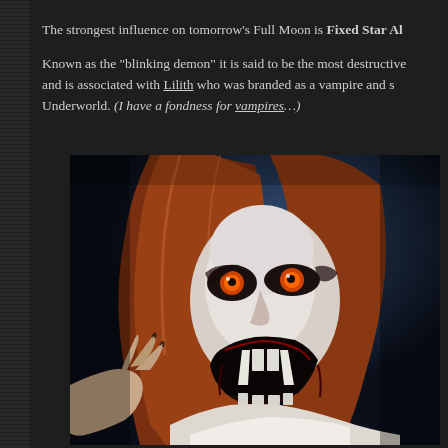The strongest influence on tomorrow's Full Moon is Fixed Star Al...
Known as the "blinking demon" it is said to be the most destructive and is associated with Lilith who was branded as a vampire and s... Underworld. (I have a fondness for vampires…)
[Figure (photo): A woman with long red/auburn hair in vampire makeup — pale white face, dark eye makeup, glowing orange eyes, fangs bared, wearing a white garment, reaching toward the camera with clawed hands. Horror film still, dramatic blue lighting in background.]